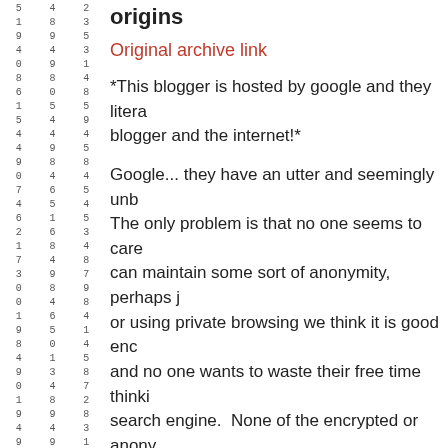[Figure (other): Left margin strip of small random digits arranged in rows]
origins
Original archive link
*This blogger is hosted by google and they litera blogger and the internet!*
Google... they have an utter and seemingly unb The only problem is that no one seems to care can maintain some sort of anonymity, perhaps j or using private browsing we think it is good enc and no one wants to waste their free time thinki search engine. None of the encrypted or anony any good. And they aren't. But the thing that w is google. Amazing search we have never expe how amazing it can be. Keep reading and you search engine that not only gives you literally d for but also instantaneous new content that wou finally get searchable.